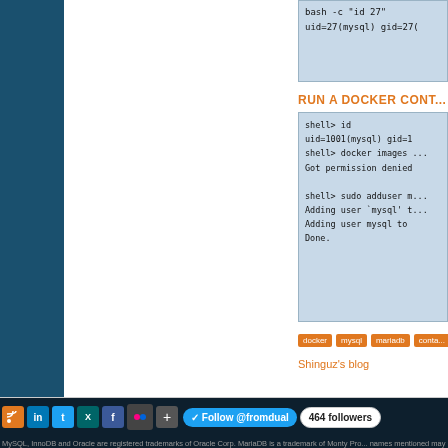[Figure (screenshot): Partial code block at top showing bash command output: bash -c 'id 27' and uid=27(mysql) gid=27(]
RUN A DOCKER CONT...
[Figure (screenshot): Code block showing shell commands: shell> id, uid=1001(mysql) gid=1..., shell> docker images ..., Got permission denied..., shell> sudo adduser m..., Adding user 'mysql' t..., Adding user mysql to..., Done.]
docker
mysql
mariadb
conta...
Shinguz's blog
Follow @fromdual   464 followers   MySQL, InnoDB and Oracle are registered trademarks of Oracle Corp. MariaDB is a trademark of Monty Pro... names mentioned may be trademarks or trade names of their respective owner.